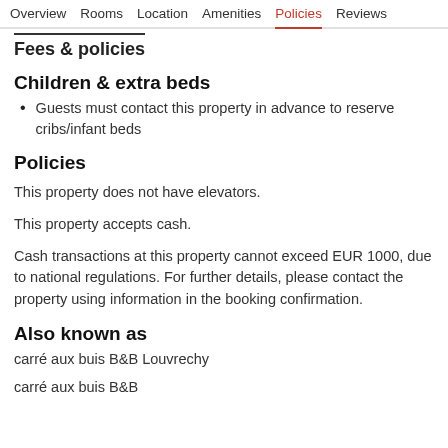Overview  Rooms  Location  Amenities  Policies  Reviews
Fees & policies
Children & extra beds
Guests must contact this property in advance to reserve cribs/infant beds
Policies
This property does not have elevators.
This property accepts cash.
Cash transactions at this property cannot exceed EUR 1000, due to national regulations. For further details, please contact the property using information in the booking confirmation.
Also known as
carré aux buis B&B Louvrechy
carré aux buis B&B